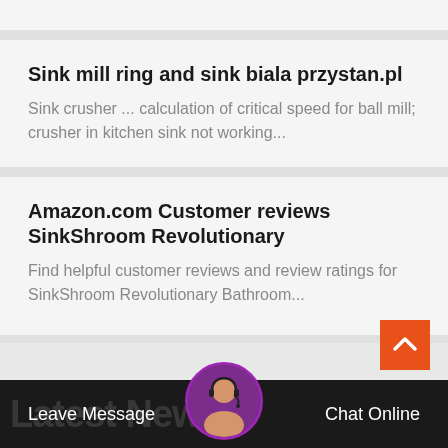Sink mill ring and sink biala przystan.pl
Sink crusher ... calculation of critical speed for ball mill; crusher in kitchen sink not working...
Amazon.com Customer reviews SinkShroom Revolutionary
Find helpful customer reviews and review ratings for SinkShroom Revolutionary Bathroom...
Leave Message   Chat Online   Latest News